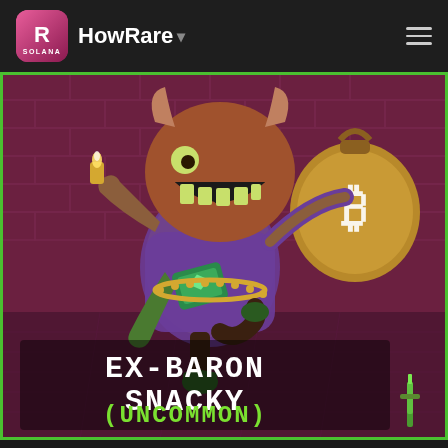HowRare
[Figure (illustration): NFT artwork showing a cartoon goblin/rat creature in a purple outfit running with a large bitcoin money bag and holding a green gem card. Text overlay reads 'EX-BARON SNACKY (UNCOMMON)' in pixel-style font against a pink brick wall background with green border. Displayed on HowRare.is NFT rarity website.]